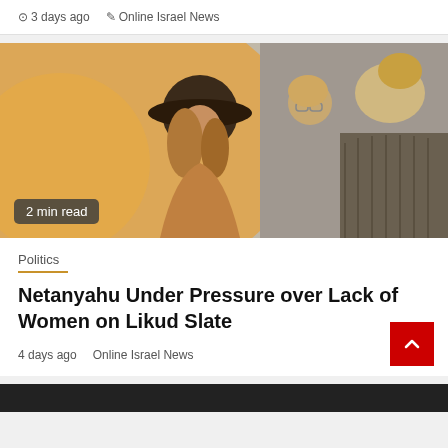⊙ 3 days ago  ✎ Online Israel News
[Figure (photo): Three women laughing together outdoors in warm sunlight, one wearing a black hat, another with glasses, photographed from behind/side angle with a '2 min read' badge overlay]
2 min read
Politics
Netanyahu Under Pressure over Lack of Women on Likud Slate
⊙ 4 days ago  ✎ Online Israel News